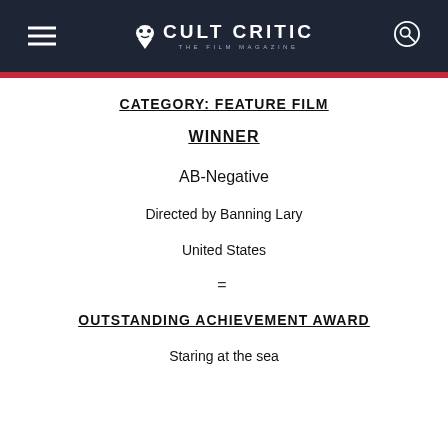CULT CRITIC THE FILM MAGAZINE
CATEGORY: FEATURE FILM
WINNER
AB-Negative
Directed by Banning Lary
United States
=
OUTSTANDING ACHIEVEMENT AWARD
Staring at the sea